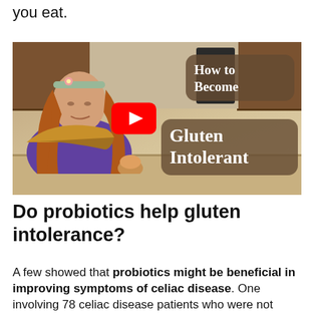you eat.
[Figure (screenshot): YouTube video thumbnail showing a person with long red hair and a flower headband holding a baguette in a kitchen, with text overlay reading 'How to Become Gluten Intolerant' and a YouTube play button in the center.]
Do probiotics help gluten intolerance?
A few showed that probiotics might be beneficial in improving symptoms of celiac disease. One involving 78 celiac disease patients who were not following a